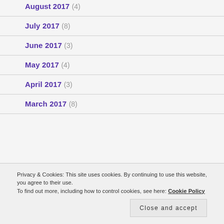August 2017 (4)
July 2017 (8)
June 2017 (3)
May 2017 (4)
April 2017 (3)
March 2017 (8)
Privacy & Cookies: This site uses cookies. By continuing to use this website, you agree to their use. To find out more, including how to control cookies, see here: Cookie Policy
Close and accept